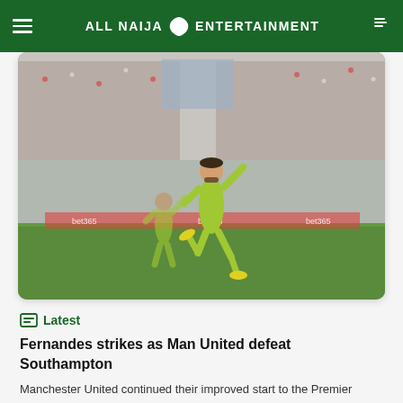ALL NAIJA ENTERTAINMENT
[Figure (photo): A footballer wearing a bright green/yellow away kit jumping and celebrating on a football pitch at St. Mary's Stadium, with a packed crowd of spectators in the background. The player appears to be Bruno Fernandes of Manchester United.]
Latest
Fernandes strikes as Man United defeat Southampton
Manchester United continued their improved start to the Premier League season as Bruno Fernandes provided a tidy finish to help Erik ten Hag's side to a 1-0 win over Southampton at St. Mary's Stadium on Saturday. After both sides proved wasteful in front of